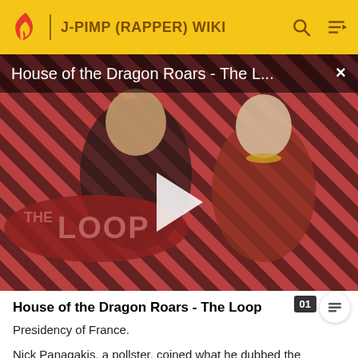J-PIMP (RAPPER) WIKI
[Figure (screenshot): Video thumbnail for 'House of the Dragon Roars - The Loop' showing two characters from the show against a red and black diagonal striped background. A large white play button triangle is centered. 'THE LOOP' logo appears in lower left.]
House of the Dragon Roars - The Loop
Presidency of France.
Nick Panagakis, a pollster, coined what he dubbed the incumbent rule in 1989, that any voter who claims to be